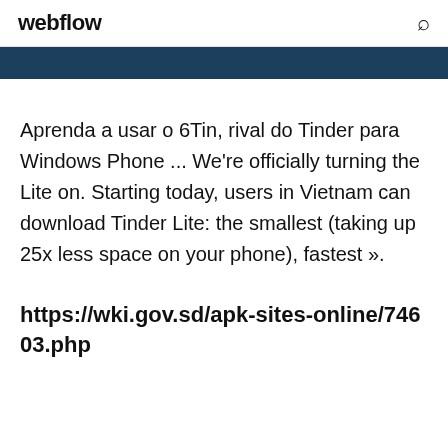webflow
[Figure (other): Dark blue navigation bar]
Aprenda a usar o 6Tin, rival do Tinder para Windows Phone ... We're officially turning the Lite on. Starting today, users in Vietnam can download Tinder Lite: the smallest (taking up 25x less space on your phone), fastest ».
https://wki.gov.sd/apk-sites-online/74603.php